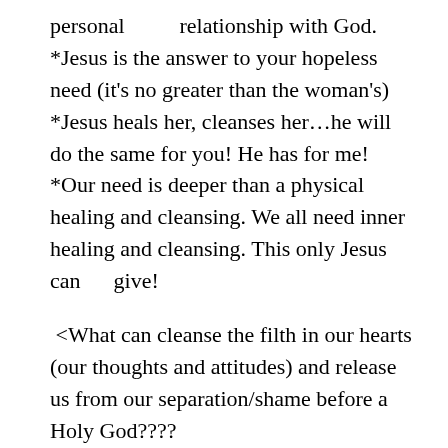personal        relationship with God.
*Jesus is the answer to your hopeless need (it's no greater than the woman's)
*Jesus heals her, cleanses her…he will do the same for you! He has for me!
*Our need is deeper than a physical healing and cleansing. We all need inner healing and cleansing. This only Jesus can     give!
<What can cleanse the filth in our hearts (our thoughts and attitudes) and release us from our separation/shame before a     Holy God????
<Scriptures teach us that a blood sacrifice of an innocent, pure, without defect being was needed to cleanse